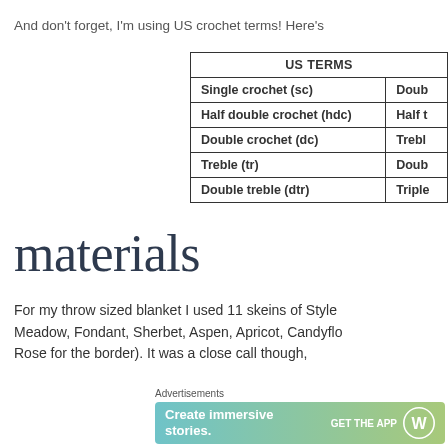And don't forget, I'm using US crochet terms! Here's
| US TERMS |  |
| --- | --- |
| Single crochet (sc) | Doub |
| Half double crochet (hdc) | Half t |
| Double crochet (dc) | Treble |
| Treble (tr) | Doub |
| Double treble (dtr) | Triple |
materials
For my throw sized blanket I used 11 skeins of Style Meadow, Fondant, Sherbet, Aspen, Apricot, Candyflo Rose for the border). It was a close call though,
Advertisements
[Figure (infographic): WordPress advertisement banner: 'Create immersive stories. GET THE APP' with WordPress logo]